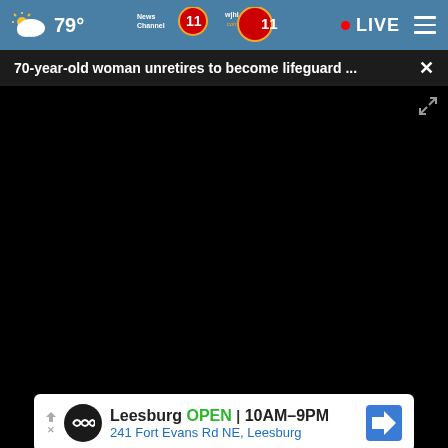79° LIVE
70-year-old woman unretires to become lifeguard ...
[Figure (screenshot): Black video player area with progress bar showing 00:00, play button, mute button, caption button, and fullscreen button on dark controls bar]
[Figure (screenshot): Thumbnail row with two video thumbnails each with play icons; close button on right thumbnail]
Leesburg OPEN 10AM–9PM 241 Fort Evans Rd NE, Leesburg